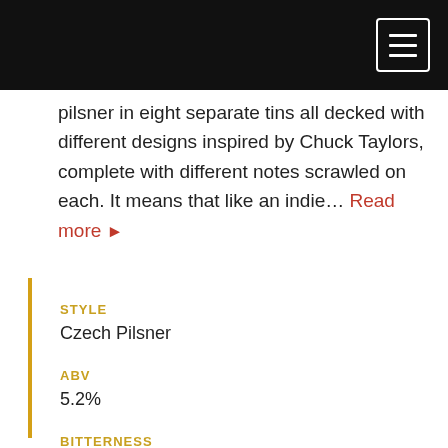pilsner in eight separate tins all decked with different designs inspired by Chuck Taylors, complete with different notes scrawled on each. It means that like an indie… Read more ▶
STYLE
Czech Pilsner
ABV
5.2%
BITTERNESS
50 IBU